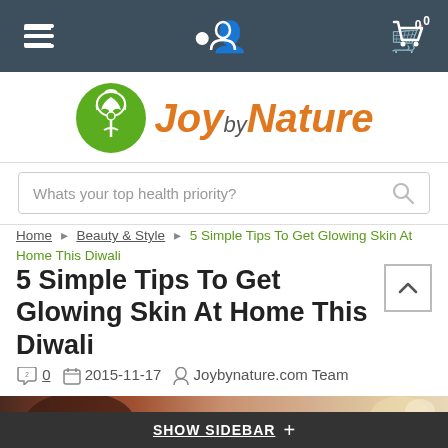Navigation bar with hamburger menu, user icon, and cart (0)
[Figure (logo): JoybyNature logo with green circle tree icon and orange italic text]
Whats your top health priority?
Home › Beauty & Style › 5 Simple Tips To Get Glowing Skin At Home This Diwali
5 Simple Tips To Get Glowing Skin At Home This Diwali
0  2015-11-17  Joybynature.com Team
[Figure (photo): Woman receiving facial treatment, partial view at bottom of page]
SHOW SIDEBAR +